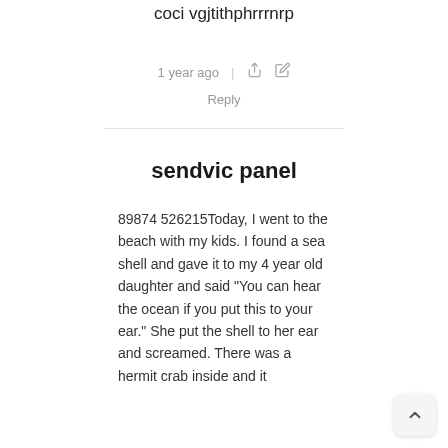coci vgjtithphrrrnrp
1 year ago   Reply
sendvic panel
89874 526215Today, I went to the beach with my kids. I found a sea shell and gave it to my 4 year old daughter and said “You can hear the ocean if you put this to your ear.” She put the shell to her ear and screamed. There was a hermit crab inside and it